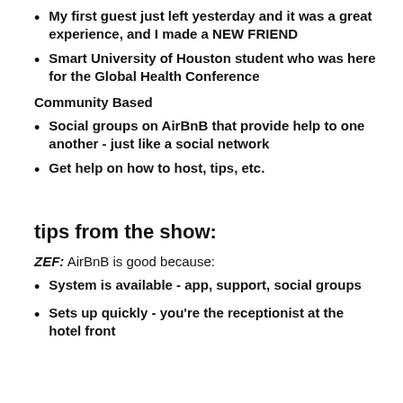My first guest just left yesterday and it was a great experience, and I made a NEW FRIEND
Smart University of Houston student who was here for the Global Health Conference
Community Based
Social groups on AirBnB that provide help to one another - just like a social network
Get help on how to host, tips, etc.
tips from the show:
ZEF:  AirBnB is good because:
System is available - app, support, social groups
Sets up quickly - you're the receptionist at the hotel front